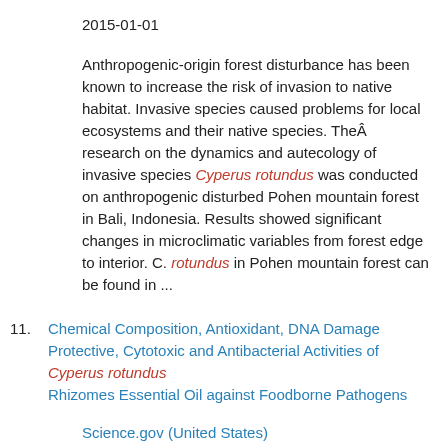2015-01-01
Anthropogenic-origin forest disturbance has been known to increase the risk of invasion to native habitat. Invasive species caused problems for local ecosystems and their native species. TheÂ  research on the dynamics and autecology of invasive species Cyperus rotundus was conducted on anthropogenic disturbed Pohen mountain forest in Bali, Indonesia. Results showed significant changes in microclimatic variables from forest edge to interior. C. rotundus in Pohen mountain forest can be found in ...
11. Chemical Composition, Antioxidant, DNA Damage Protective, Cytotoxic and Antibacterial Activities of Cyperus rotundus Rhizomes Essential Oil against Foodborne Pathogens
Science.gov (United States)
Hu, Qing-Ping; Cao, Xin-Ming; Hao, Dong-Lin; Zhang, Liang-Liang
2017-01-01
Cyperus rotundus L. (Cyperaceae) is a medicinal herb